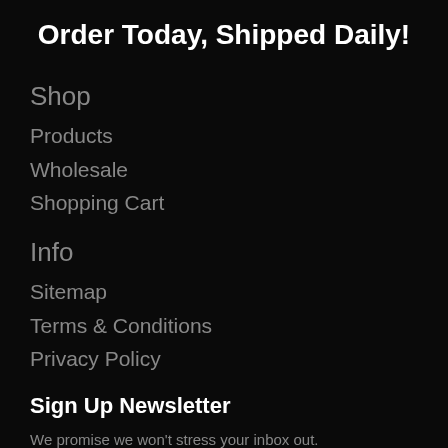Order Today, Shipped Daily!
Shop
Products
Wholesale
Shopping Cart
Info
Sitemap
Terms & Conditions
Privacy Policy
Sign Up Newsletter
We promise we won't stress your inbox out.
We only send emails & offers that have a good vibe.